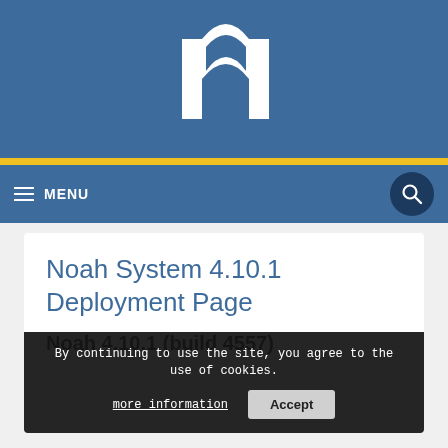[Figure (logo): White stylized 'h' arch logo on blue background]
≡ MENU
Noah System 4.10.1 Deployment Page
By continuing to use the site, you agree to the use of cookies.
more information   Accept
Noah 4.10.1 (build 4557)